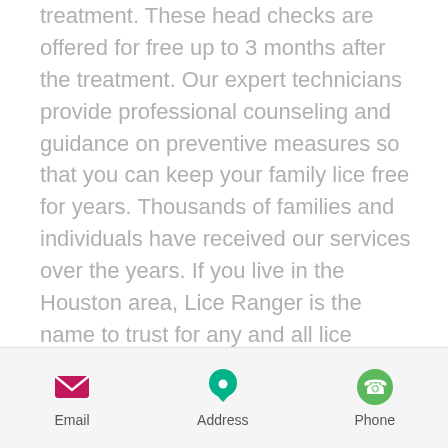treatment. These head checks are offered for free up to 3 months after the treatment. Our expert technicians provide professional counseling and guidance on preventive measures so that you can keep your family lice free for years. Thousands of families and individuals have received our services over the years. If you live in the Houston area, Lice Ranger is the name to trust for any and all lice removal services. Call or Text us right now if you need Houston Lice Removal Services for your children or family.
[Figure (infographic): Footer bar with three icons and labels: Email (pink envelope icon), Address (teal map pin icon), Phone (green phone icon)]